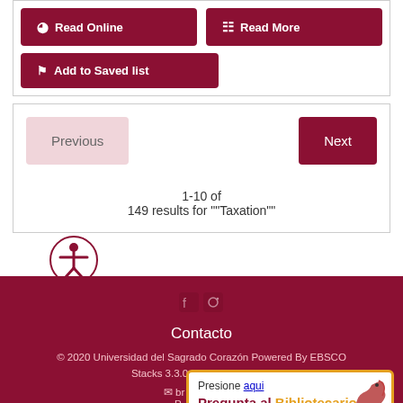Read Online
Read More
Add to Saved list
Previous
Next
1-10 of
149 results for ""Taxation""
Contacto
© 2020 Universidad del Sagrado Corazón Powered By EBSCO Stacks 3.3.0 [344] | Staff Login
P. 787-72...
Presione aqui
Pregunta al Bibliotecario